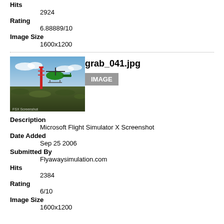Hits
2924
Rating
6.88889/10
Image Size
1600x1200
[Figure (screenshot): Thumbnail of grab_041.jpg showing a helicopter over terrain in Microsoft Flight Simulator X]
grab_041.jpg
IMAGE
Description
Microsoft Flight Simulator X Screenshot
Date Added
Sep 25 2006
Submitted By
Flyawaysimulation.com
Hits
2384
Rating
6/10
Image Size
1600x1200